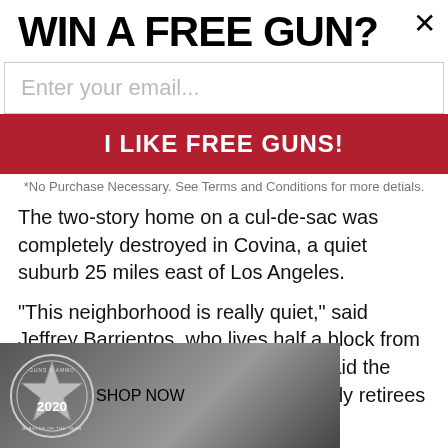WIN A FREE GUN?
Enter your email...
I LIKE FREE GUNS!
*No Purchase Necessary. See Terms and Conditions for more detials.
The two-story home on a cul-de-sac was completely destroyed in Covina, a quiet suburb 25 miles east of Los Angeles.
"This neighborhood is really quiet," said Jeffrey Barrientos, who lives half a block from the house that burned. Barrientos said the neighborhood's residents were mostly retirees and elderly people.
[Figure (photo): Black and white advertisement image showing a person with a firearm, with a Guns & Ammo 2020 badge on the left and a red SHOP NOW button on the right.]